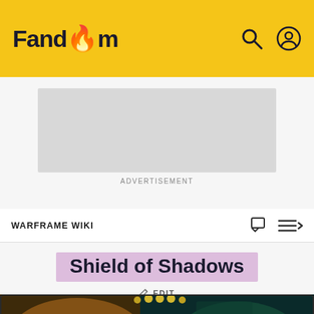Fandom
[Figure (screenshot): Advertisement placeholder box]
ADVERTISEMENT
WARFRAME WIKI
Shield of Shadows
EDIT
[Figure (screenshot): Shield of Shadows game card image showing a dark warrior figure with teal/green tones, number 9 visible in bottom right corner]